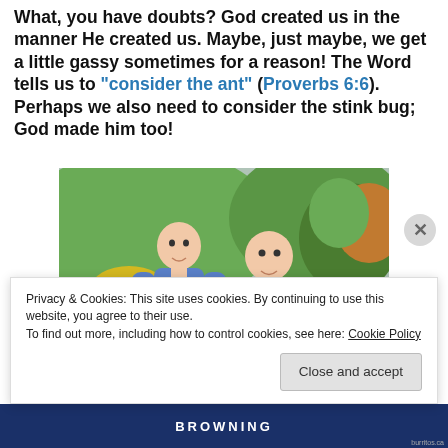What, you have doubts? God created us in the manner He created us. Maybe, just maybe, we get a little gassy sometimes for a reason! The Word tells us to "consider the ant" (Proverbs 6:6). Perhaps we also need to consider the stink bug; God made him too!
[Figure (photo): Outdoor photo of two men smiling, both wearing blue shirts, standing in front of greenery and trees on a hillside.]
Privacy & Cookies: This site uses cookies. By continuing to use this website, you agree to their use.
To find out more, including how to control cookies, see here: Cookie Policy
Close and accept
BROWNING